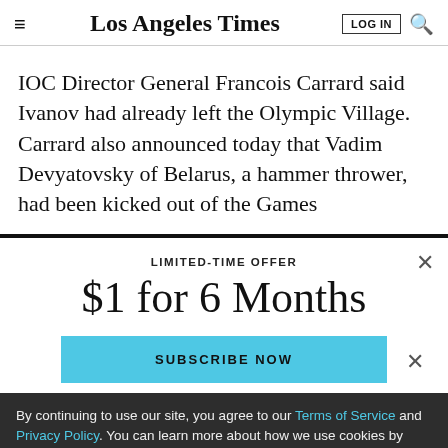Los Angeles Times
IOC Director General Francois Carrard said Ivanov had already left the Olympic Village. Carrard also announced today that Vadim Devyatovsky of Belarus, a hammer thrower, had been kicked out of the Games
LIMITED-TIME OFFER
$1 for 6 Months
SUBSCRIBE NOW
By continuing to use our site, you agree to our Terms of Service and Privacy Policy. You can learn more about how we use cookies by reviewing our Privacy Policy. Close